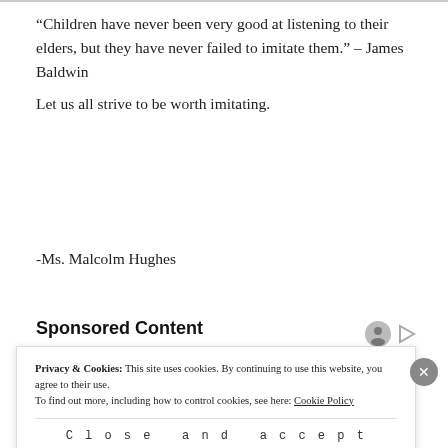“Children have never been very good at listening to their elders, but they have never failed to imitate them.” – James Baldwin
Let us all strive to be worth imitating.
-Ms. Malcolm Hughes
Sponsored Content
[Figure (photo): A colorful spread of fresh vegetables and produce including broccoli, yellow peppers, tomatoes, onions, and spices on a wooden spoon.]
Privacy & Cookies: This site uses cookies. By continuing to use this website, you agree to their use.
To find out more, including how to control cookies, see here: Cookie Policy
Close and accept